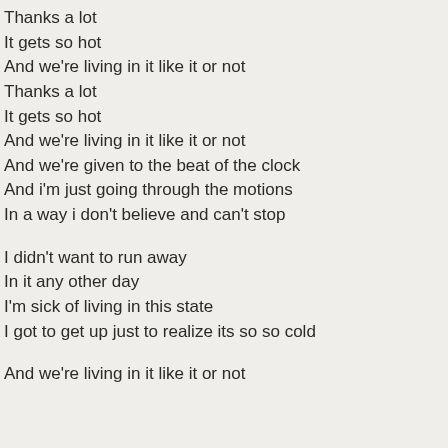Thanks a lot
It gets so hot
And we're living in it like it or not
Thanks a lot
It gets so hot
And we're living in it like it or not
And we're given to the beat of the clock
And i'm just going through the motions
In a way i don't believe and can't stop
I didn't want to run away
In it any other day
I'm sick of living in this state
I got to get up just to realize its so so cold
And we're living in it like it or not